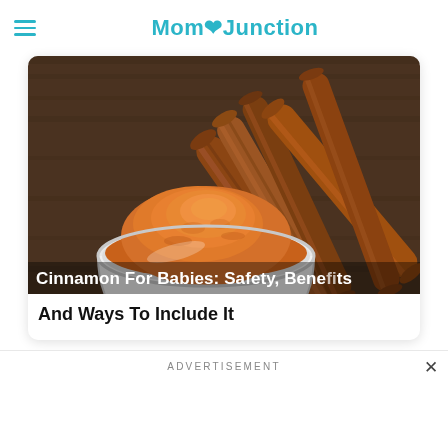MomJunction
[Figure (photo): A white bowl filled with cinnamon powder surrounded by cinnamon sticks on a wooden surface]
Cinnamon For Babies: Safety, Benefits And Ways To Include It
ADVERTISEMENT